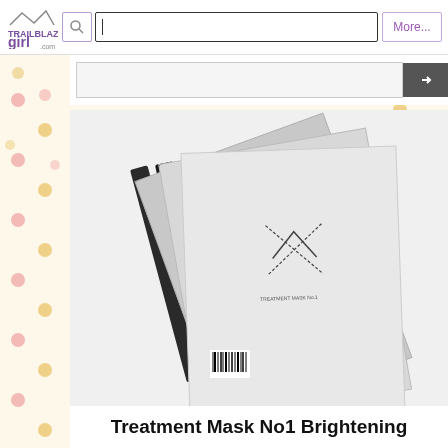Trailblazer Girl .com — search bar header with More... button
[Figure (screenshot): Website screenshot of trailblazergirl.com showing logo, search bar, and product image of Treatment Mask No1 Brightening packets fanned out on white background]
Treatment Mask No1 Brightening